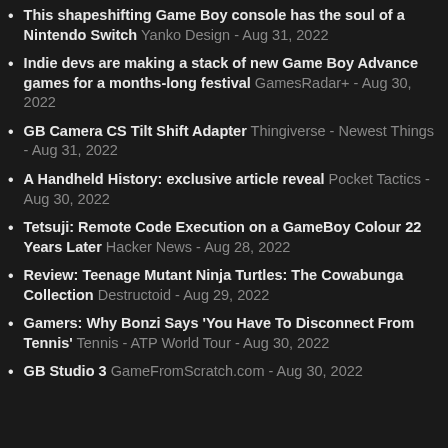This shapeshifting Game Boy console has the soul of a Nintendo Switch Yanko Design - Aug 31, 2022
Indie devs are making a stack of new Game Boy Advance games for a months-long festival GamesRadar+ - Aug 30, 2022
GB Camera CS Tilt Shift Adapter Thingiverse - Newest Things - Aug 31, 2022
A Handheld History: exclusive article reveal Pocket Tactics - Aug 30, 2022
Tetsuji: Remote Code Execution on a GameBoy Colour 22 Years Later Hacker News - Aug 28, 2022
Review: Teenage Mutant Ninja Turtles: The Cowabunga Collection Destructoid - Aug 29, 2022
Gamers: Why Bonzi Says 'You Have To Disconnect From Tennis' Tennis - ATP World Tour - Aug 30, 2022
GB Studio 3 GameFromScratch.com - Aug 30, 2022